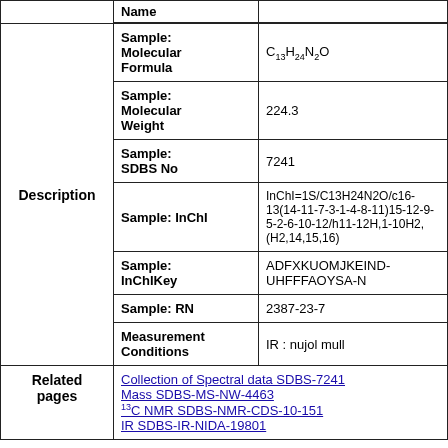|  | Field | Value |
| --- | --- | --- |
| Description | Sample: Molecular Formula | C13H24N2O |
| Description | Sample: Molecular Weight | 224.3 |
| Description | Sample: SDBS No | 7241 |
| Description | Sample: InChI | InChI=1S/C13H24N2O/c16-13(14-11-7-3-1-4-8-11)15-12-9-5-2-6-10-12/h11-12H,1-10H2,(H2,14,15,16) |
| Description | Sample: InChIKey | ADFXKUOMJKEIND-UHFFFAOYSA-N |
| Description | Sample: RN | 2387-23-7 |
| Description | Measurement Conditions | IR : nujol mull |
| Related pages |  | Collection of Spectral data SDBS-7241 | Mass SDBS-MS-NW-4463 | 13C NMR SDBS-NMR-CDS-10-151 | IR SDBS-IR-NIDA-19801 |